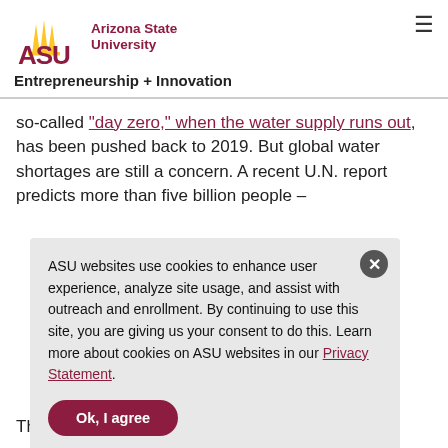[Figure (logo): Arizona State University logo with ASU text in maroon and gold sun graphic, followed by 'Arizona State University' text in maroon]
Entrepreneurship + Innovation
so-called "day zero," when the water supply runs out, has been pushed back to 2019. But global water shortages are still a concern. A recent U.N. report predicts more than five billion people –
ASU websites use cookies to enhance user experience, analyze site usage, and assist with outreach and enrollment. By continuing to use this site, you are giving us your consent to do this. Learn more about cookies on ASU websites in our Privacy Statement.
Ok, I agree
The systems already helped out in some of the